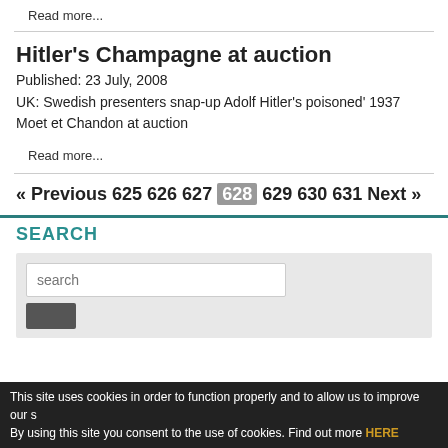Read more...
Hitler's Champagne at auction
Published:  23 July, 2008
UK: Swedish presenters snap-up Adolf Hitler's poisoned' 1937 Moet et Chandon at auction
Read more...
« Previous 625 626 627 628 629 630 631 Next »
SEARCH
search
This site uses cookies in order to function properly and to allow us to improve our s By using this site you consent to the use of cookies. Find out more HERE